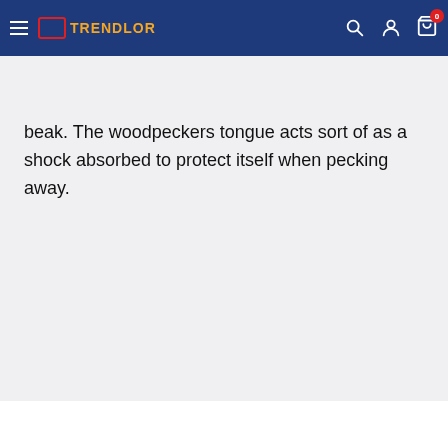TRENDLOR
beak. The woodpeckers tongue acts sort of as a shock absorbed to protect itself when pecking away.